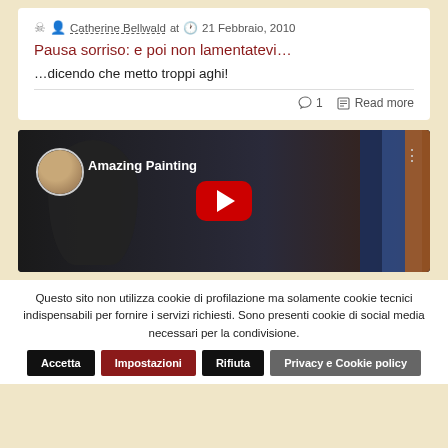Catherine Bellwald at 21 Febbraio, 2010
Pausa sorriso: e poi non lamentatevi…
…dicendo che metto troppi aghi!
1  Read more
[Figure (screenshot): YouTube video thumbnail for 'Amazing Painting' showing a man with a YouTube play button overlay]
Questo sito non utilizza cookie di profilazione ma solamente cookie tecnici indispensabili per fornire i servizi richiesti. Sono presenti cookie di social media necessari per la condivisione.
Accetta  Impostazioni  Rifiuta  Privacy e Cookie policy